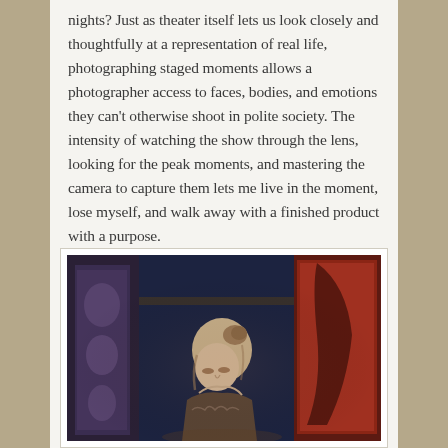nights? Just as theater itself lets us look closely and thoughtfully at a representation of real life, photographing staged moments allows a photographer access to faces, bodies, and emotions they can't otherwise shoot in polite society. The intensity of watching the show through the lens, looking for the peak moments, and mastering the camera to capture them lets me live in the moment, lose myself, and walk away with a finished product with a purpose.
[Figure (photo): Theater performance photo showing a woman with hair up in a bun, looking downward, on a stage with colorful tapestry/backdrop elements visible in the background including dark blue and red/orange decorative panels.]